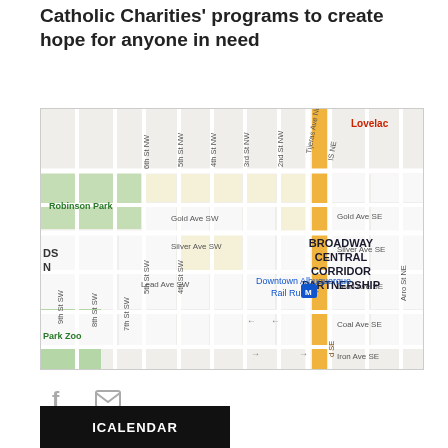Catholic Charities' programs to create hope for anyone in need
[Figure (map): Street map of Downtown Albuquerque showing Broadway Central Corridor Partnership area, with a highlighted orange vertical corridor. Includes labels for Robinson Park, Park Zoo, Downtown Albuquerque Rail Runner station, and surrounding streets (Gold Ave SW, Silver Ave SW, Lead Ave SW, Coal Ave SE, Iron Ave SE, Tijeras Ave NW, and numbered streets).]
Facebook and email share icons
ICALENDAR